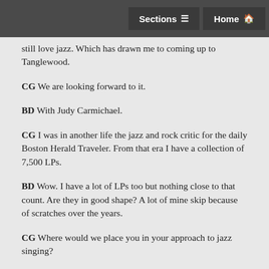Sections  Home
still love jazz. Which has drawn me to coming up to Tanglewood.
CG We are looking forward to it.
BD With Judy Carmichael.
CG I was in another life the jazz and rock critic for the daily Boston Herald Traveler. From that era I have a collection of 7,500 LPs.
BD Wow. I have a lot of LPs too but nothing close to that count. Are they in good shape? A lot of mine skip because of scratches over the years.
CG Where would we place you in your approach to jazz singing?